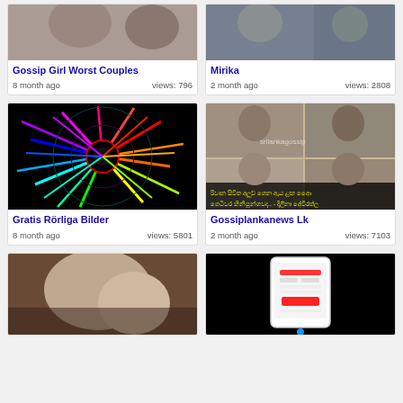[Figure (photo): Partial photo visible at top left - couples image cropped]
Gossip Girl Worst Couples
8 month ago   views: 796
[Figure (photo): Partial photo visible at top right - Mirika]
Mirika
2 month ago   views: 2808
[Figure (photo): Colorful neon spiral abstract image on black background]
Gratis Rörliga Bilder
8 month ago   views: 5801
[Figure (photo): Gossiplankanews Lk - collage of couples with Sinhala text overlay]
Gossiplankanews Lk
2 month ago   views: 7103
[Figure (photo): Adult content image - partially visible]
[Figure (screenshot): Mobile app screenshot on black background showing app UI with red button]